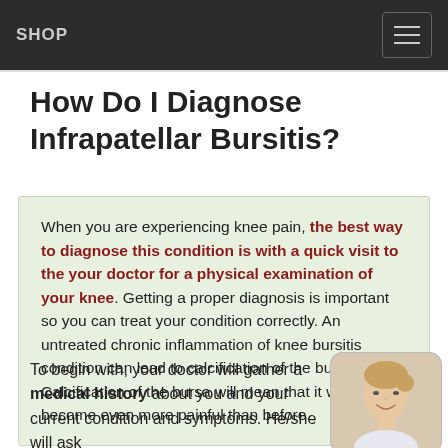SHOP
How Do I Diagnose Infrapatellar Bursitis?
When you are experiencing knee pain, the best way to diagnose this condition is with a quick visit to the your doctor for a physical examination of your knee. Getting a proper diagnosis is important so you can treat your condition correctly. An untreated chronic inflammation of knee bursitis condition can lead to calcification of the bursa. Calcification of the bursa will mean that it will become even more painful than before.
To begin with, your doctor will gather a medical history about you and your current condition and symptoms. He/she will ask
[Figure (photo): Photo of a smiling female doctor or medical professional with blonde hair tied back, against a light background.]